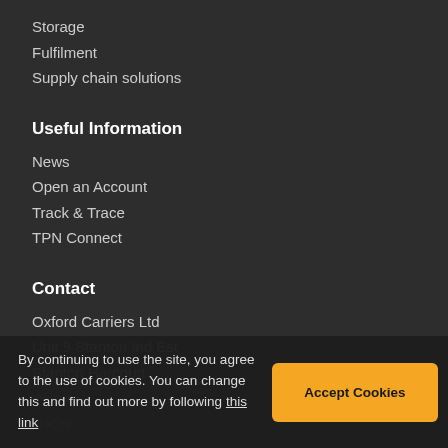Storage
Fulfilment
Supply chain solutions
Useful Information
News
Open an Account
Track & Trace
TPN Connect
Contact
Oxford Carriers Ltd
Unit 9 Stanton Ind Est
Stanton Harcourt
Witney
OX29
📞 01865 880 029
✉ info@oxfordcarriers.co.uk
By continuing to use the site, you agree to the use of cookies. You can change this and find out more by following this link
Accept Cookies